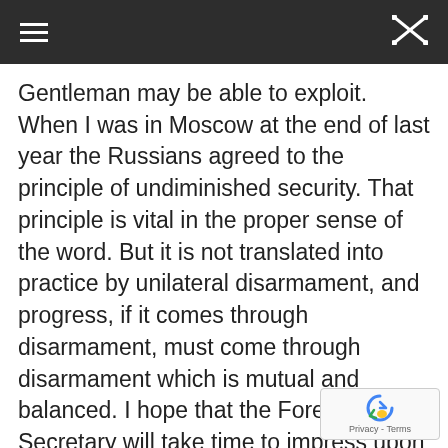≡ [shuffle icon]
Gentleman may be able to exploit. When I was in Moscow at the end of last year the Russians agreed to the principle of undiminished security. That principle is vital in the proper sense of the word. But it is not translated into practice by unilateral disarmament, and progress, if it comes through disarmament, must come through disarmament which is mutual and balanced. I hope that the Foreign Secretary will take time to impress upon his colleagues the reality of the military facts and to consult our allies before authorising savage cuts in defence expenditure. We can and we should pursue disarmament, but it must be mutual and balanced.
There is available, apart from the disarmament conference of which the right hon. Gentleman